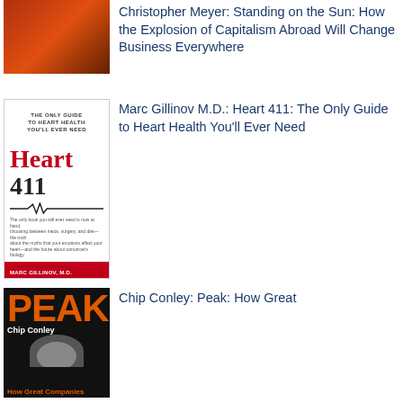[Figure (photo): Book cover for 'Standing on the Sun' by Christopher Meyer - orange/red gradient cover]
Christopher Meyer: Standing on the Sun: How the Explosion of Capitalism Abroad Will Change Business Everywhere
[Figure (photo): Book cover for 'Heart 411' by Marc Gillinov M.D. and Steven Nissen M.D. - white top with red/black cover]
Marc Gillinov M.D.: Heart 411: The Only Guide to Heart Health You'll Ever Need
[Figure (photo): Book cover for 'Peak' by Chip Conley - black cover with orange 'PEAK' text and author photo]
Chip Conley: Peak: How Great Companies